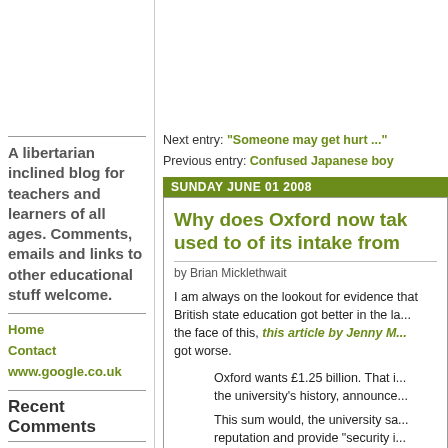A libertarian inclined blog for teachers and learners of all ages. Comments, emails and links to other educational stuff welcome.
Home
Contact
www.google.co.uk
Recent Comments
Headteacher job london on Teacher as hero
Next entry: "Someone may get hurt ..." Previous entry: Confused Japanese boy
SUNDAY JUNE 01 2008
Why does Oxford now tak... used to of its intake from...
by Brian Micklethwait
I am always on the lookout for evidence that British state education got better in the la... the face of this, this article by Jenny M... got worse.
Oxford wants £1.25 billion. That i... the university's history, announce...
This sum would, the university sa... reputation and provide "security i... growing global competition"